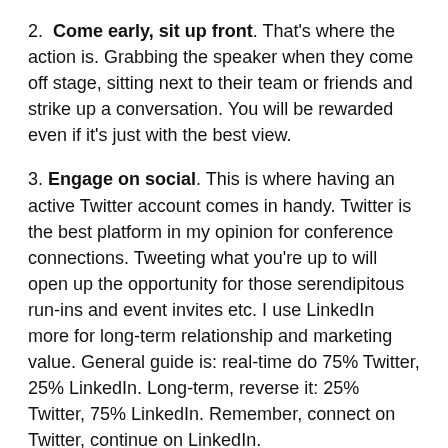2. Come early, sit up front. That's where the action is. Grabbing the speaker when they come off stage, sitting next to their team or friends and strike up a conversation. You will be rewarded even if it's just with the best view.
3. Engage on social. This is where having an active Twitter account comes in handy. Twitter is the best platform in my opinion for conference connections. Tweeting what you're up to will open up the opportunity for those serendipitous run-ins and event invites etc. I use LinkedIn more for long-term relationship and marketing value. General guide is: real-time do 75% Twitter, 25% LinkedIn. Long-term, reverse it: 25% Twitter, 75% LinkedIn. Remember, connect on Twitter, continue on LinkedIn.